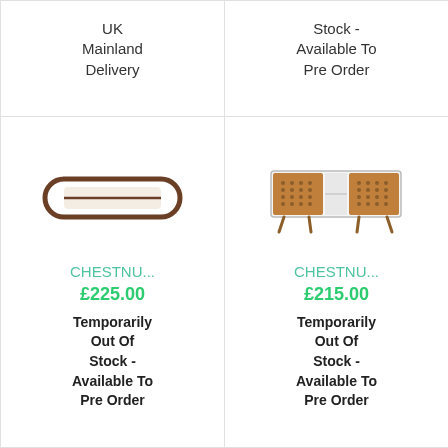UK Mainland Delivery
Stock - Available To Pre Order
[Figure (photo): Chestnut wooden coffee table or bench with oval/rounded rectangular shape, brown finish]
CHESTNU...
£225.00
Temporarily Out Of Stock - Available To Pre Order
[Figure (photo): Chestnut wooden sideboard/TV unit with patterned drawer fronts and tapered legs]
CHESTNU...
£215.00
Temporarily Out Of Stock - Available To Pre Order